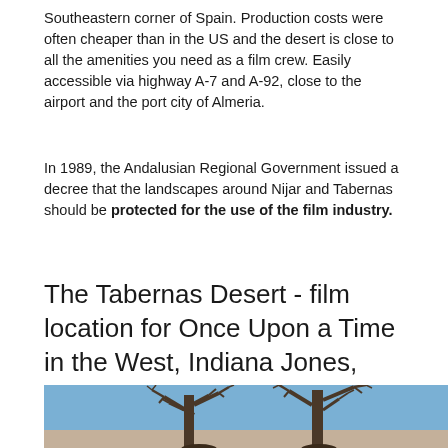Southeastern corner of Spain. Production costs were often cheaper than in the US and the desert is close to all the amenities you need as a film crew. Easily accessible via highway A-7 and A-92, close to the airport and the port city of Almeria.
In 1989, the Andalusian Regional Government issued a decree that the landscapes around Nijar and Tabernas should be protected for the use of the film industry.
The Tabernas Desert - film location for Once Upon a Time in the West, Indiana Jones, Lawrence of Arabia and Exodus - film successes made in Andalusia
[Figure (photo): Photo of bare dead trees with gnarled branches against a blue sky with desert landscape]